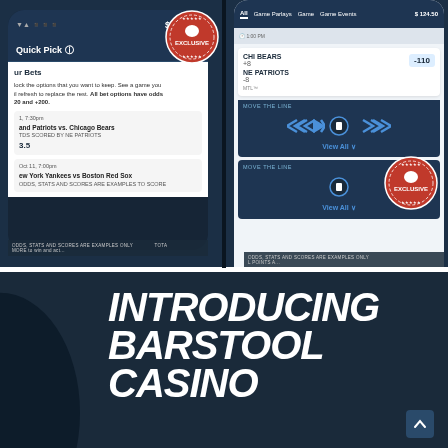[Figure (screenshot): Two mobile app screenshots showing sports betting interface with Quick Pick feature, CHI BEARS vs NE PATRIOTS matchup with -110 odds, Move The Line slider, and View All button. An EXCLUSIVE badge appears on top left screenshot.]
[Figure (screenshot): Bottom promotional banner for Barstool Casino on dark navy background with bold italic white text reading INTRODUCING BARSTOOL CASINO]
INTRODUCING BARSTOOL CASINO